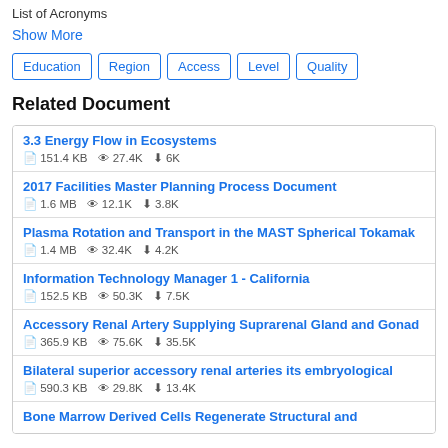List of Acronyms
Show More
Education
Region
Access
Level
Quality
Related Document
3.3 Energy Flow in Ecosystems
151.4 KB  27.4K  6K
2017 Facilities Master Planning Process Document
1.6 MB  12.1K  3.8K
Plasma Rotation and Transport in the MAST Spherical Tokamak
1.4 MB  32.4K  4.2K
Information Technology Manager 1 - California
152.5 KB  50.3K  7.5K
Accessory Renal Artery Supplying Suprarenal Gland and Gonad
365.9 KB  75.6K  35.5K
Bilateral superior accessory renal arteries its embryological
590.3 KB  29.8K  13.4K
Bone Marrow Derived Cells Regenerate Structural and